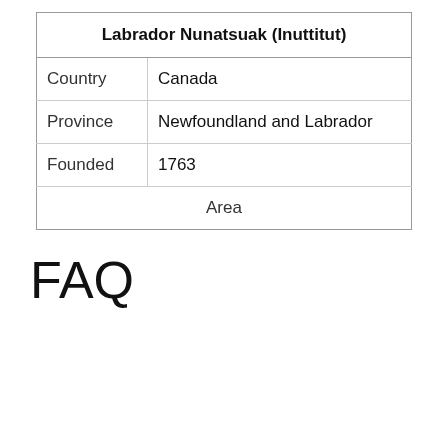| Labrador Nunatsuak (Inuttitut) |
| --- |
| Country | Canada |
| Province | Newfoundland and Labrador |
| Founded | 1763 |
| Area |  |
FAQ